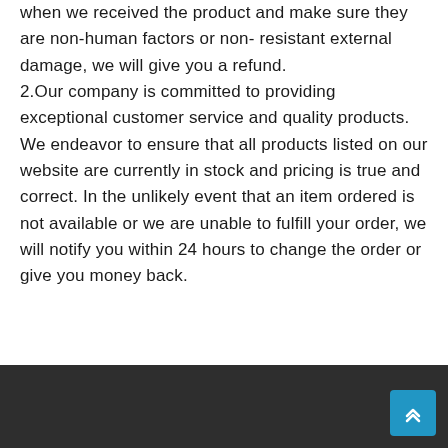when we received the product and make sure they are non-human factors or non-resistant external damage, we will give you a refund.
2.Our company is committed to providing exceptional customer service and quality products. We endeavor to ensure that all products listed on our website are currently in stock and pricing is true and correct. In the unlikely event that an item ordered is not available or we are unable to fulfill your order, we will notify you within 24 hours to change the order or give you money back.